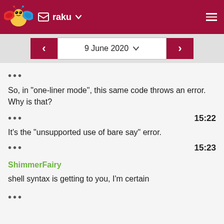raku
9 June 2020
So, in "one-liner mode", this same code throws an error. Why is that?
15:22
It's the "unsupported use of bare say" error.
15:23
ShimmerFairy
shell syntax is getting to you, I'm certain